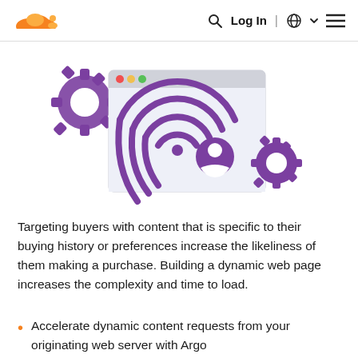Cloudflare logo | Search | Log In | Globe | Menu
[Figure (illustration): Illustration of a browser window with a fingerprint/wifi signal icon and a user profile icon in the center, flanked by two purple gear icons on the left and right.]
Targeting buyers with content that is specific to their buying history or preferences increase the likeliness of them making a purchase. Building a dynamic web page increases the complexity and time to load.
Accelerate dynamic content requests from your originating web server with Argo